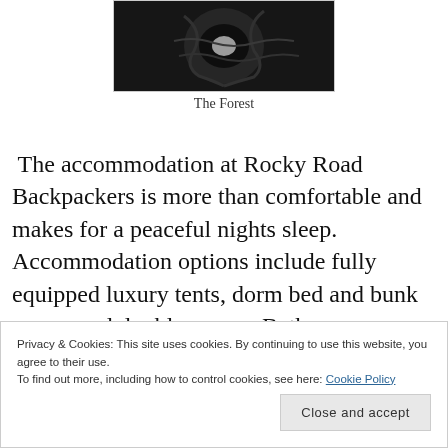[Figure (photo): A dark forest/nature photograph showing what appears to be a swirling pattern, possibly a bird's nest or rock formation with dark tones]
The Forest
The accommodation at Rocky Road Backpackers is more than comfortable and makes for a peaceful nights sleep. Accommodation options include fully equipped luxury tents, dorm bed and bunk rooms and double rooms. Bathroom facilities are strategically placed in
Privacy & Cookies: This site uses cookies. By continuing to use this website, you agree to their use.
To find out more, including how to control cookies, see here: Cookie Policy
Close and accept